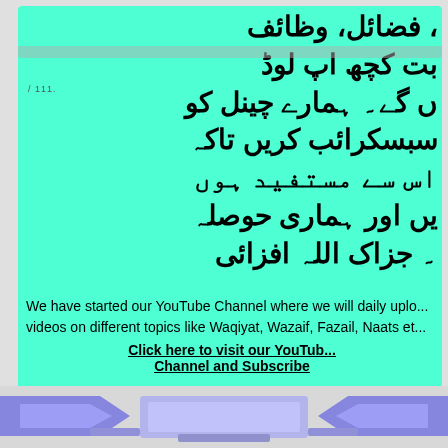فضائل، وظائف، نعت کچھ اپ لوڈ کریں گے۔ ہمارے چینل کو سبسکرائب کریں تاکہ اس سے مستفید ہوں اور ہماری حوصلہ افزائی ہو۔ جزاک اللہ
We have started our YouTube Channel where we will daily upload videos on different topics like Waqiyat, Wazaif, Fazail, Naats etc.
Click here to visit our YouTube Channel and Subscribe
[Figure (illustration): Navigation bar with purple/blue chevron/tab shapes at the bottom of the page]